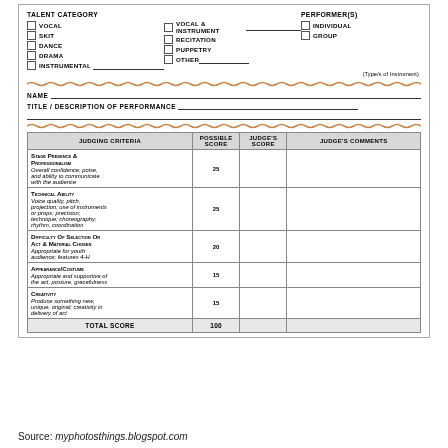| Judging Criteria | Possible Score | Judge's Score | Judge's Comments |
| --- | --- | --- | --- |
| Stage Presence & Professionalism
Overall confidence, poise, and ability to communicate with the audience | 25 |  |  |
| Technical Ability
Voice quality, pitch, projection; use of instruments or props; precision; technique; choreography; rhythm, coordination | 25 |  |  |
| Difficulty of Selection or Act & Material Chosen
Appropriate for youth audience; features 4-H | 20 |  |  |
| Appearance/Costume
Appropriate and supportive of the act, posture, gracefulness | 15 |  |  |
| Creativity
Produce something new, unique, original; creativity in delivery of act | 15 |  |  |
| Total Score | 100 |  |  |
Source: myphotosthings.blogspot.com